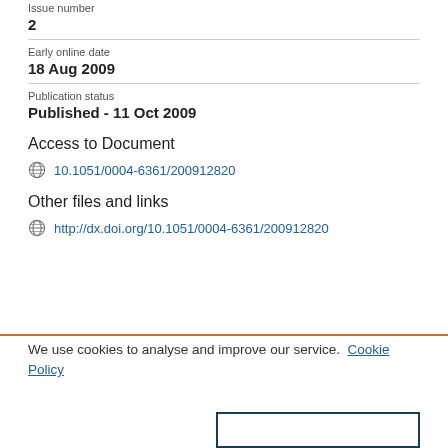Issue number
2
Early online date
18 Aug 2009
Publication status
Published - 11 Oct 2009
Access to Document
10.1051/0004-6361/200912820
Other files and links
http://dx.doi.org/10.1051/0004-6361/200912820
We use cookies to analyse and improve our service. Cookie Policy